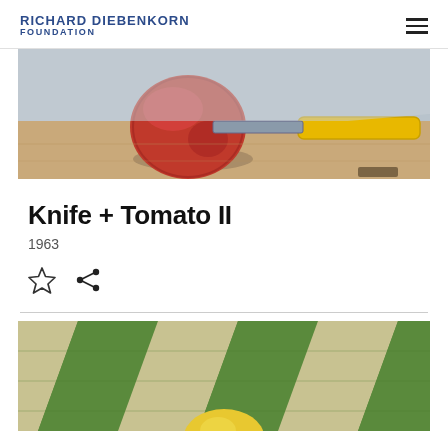RICHARD DIEBENKORN FOUNDATION
[Figure (photo): Close-up painting of a red tomato and a knife with yellow handle on a tan surface, partially cropped at top]
Knife + Tomato II
1963
[Figure (illustration): Star (bookmark/favorite) icon outline]
[Figure (illustration): Share icon]
[Figure (photo): Close-up painting showing green and beige diagonal striped surface with a yellow round object at bottom, partially cropped]